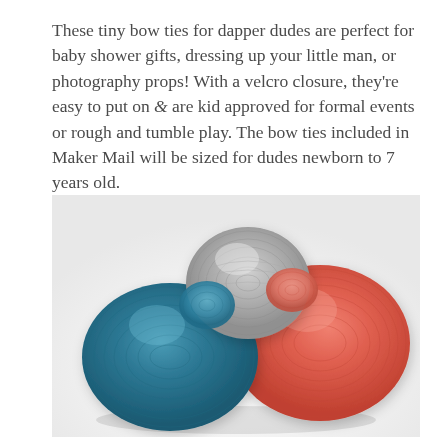These tiny bow ties for dapper dudes are perfect for baby shower gifts, dressing up your little man, or photography props! With a velcro closure, they're easy to put on & are kid approved for formal events or rough and tumble play. The bow ties included in Maker Mail will be sized for dudes newborn to 7 years old.
[Figure (photo): Three skeins of yarn arranged together on a white background: a teal/blue skein on the left, a light gray skein in the center-top, and a coral/salmon-orange skein on the right.]